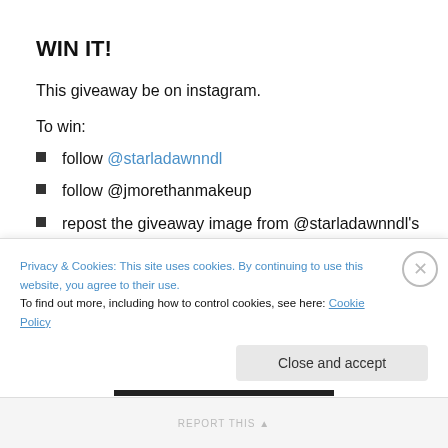WIN IT!
This giveaway be on instagram.
To win:
follow @starladawnndl
follow @jmorethanmakeup
repost the giveaway image from @starladawnndl's feed
[partially visible item]
Privacy & Cookies: This site uses cookies. By continuing to use this website, you agree to their use. To find out more, including how to control cookies, see here: Cookie Policy
Close and accept